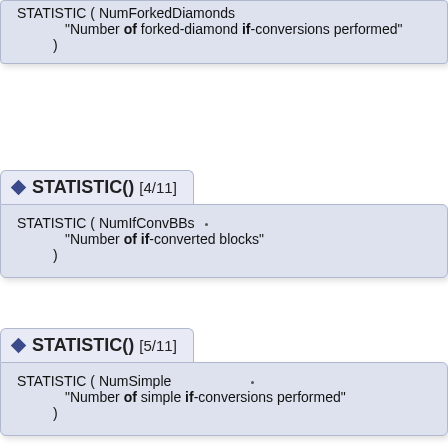STATISTIC ( NumForkedDiamonds
"Number of forked-diamond if-conversions performed"
)
STATISTIC() [4/11]
STATISTIC ( NumIfConvBBs
"Number of if-converted blocks"
)
STATISTIC() [5/11]
STATISTIC ( NumSimple
"Number of simple if-conversions performed"
)